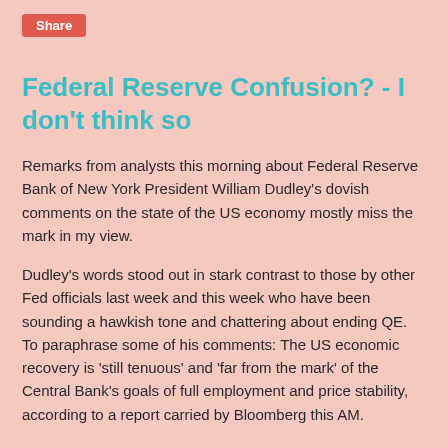Share
Federal Reserve Confusion? - I don't think so
Remarks from analysts this morning about Federal Reserve Bank of New York President William Dudley's dovish comments on the state of the US economy mostly miss the mark in my view.
Dudley's words stood out in stark contrast to those by other Fed officials last week and this week who have been sounding a hawkish tone and chattering about ending QE. To paraphrase some of his comments: The US economic recovery is 'still tenuous' and 'far from the mark' of the Central Bank's goals of full employment and price stability, according to a report carried by Bloomberg this AM.
Dudley remarked that we must not be overly optimistic about the growth outlook".